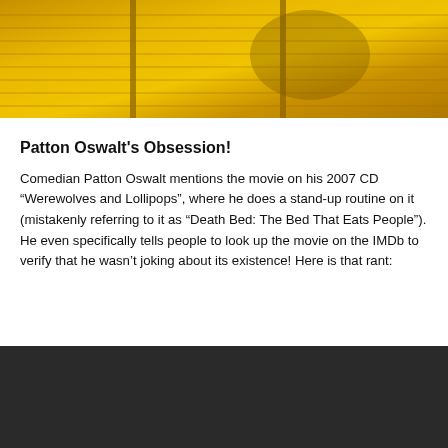[Figure (photo): Golden/yellow colored image showing rows of what appear to be record sleeves or folders stacked closely together, viewed from above at an angle, with yellow-orange tones throughout.]
Patton Oswalt's Obsession!
Comedian Patton Oswalt mentions the movie on his 2007 CD “Werewolves and Lollipops”, where he does a stand-up routine on it (mistakenly referring to it as “Death Bed: The Bed That Eats People”). He even specifically tells people to look up the movie on the IMDb to verify that he wasn’t joking about its existence! Here is that rant:
[Figure (screenshot): Dark/black rectangle representing a video player or embedded video content area.]